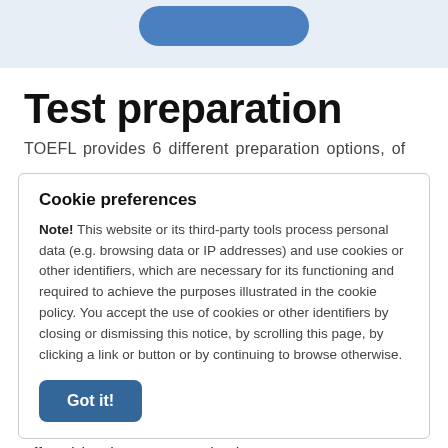[Figure (other): Top banner with a blue rounded button on a light blue background]
Test preparation
TOEFL provides 6 different preparation options, of
Cookie preferences
Note! This website or its third-party tools process personal data (e.g. browsing data or IP addresses) and use cookies or other identifiers, which are necessary for its functioning and required to achieve the purposes illustrated in the cookie policy. You accept the use of cookies or other identifiers by closing or dismissing this notice, by scrolling this page, by clicking a link or button or by continuing to browse otherwise.
Got it!
offered by the test organization cost.